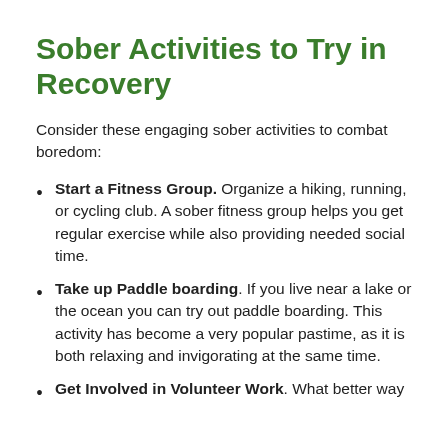Sober Activities to Try in Recovery
Consider these engaging sober activities to combat boredom:
Start a Fitness Group. Organize a hiking, running, or cycling club. A sober fitness group helps you get regular exercise while also providing needed social time.
Take up Paddle boarding. If you live near a lake or the ocean you can try out paddle boarding. This activity has become a very popular pastime, as it is both relaxing and invigorating at the same time.
Get Involved in Volunteer Work. What better way